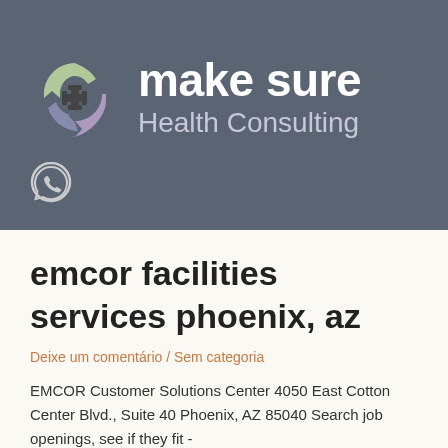[Figure (logo): make sure Health Consulting logo with circular recycling-style icon in light green and purple on a dark gray background]
[Figure (other): WhatsApp icon (white speech bubble with phone handset) on dark gray background]
emcor facilities services phoenix, az
Deixe um comentário / Sem categoria
EMCOR Customer Solutions Center 4050 East Cotton Center Blvd., Suite 40 Phoenix, AZ 85040 Search job openings, see if they fit -